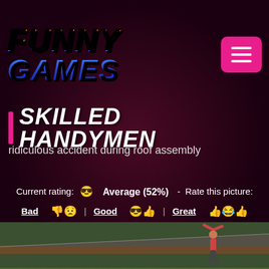[Figure (logo): Funny Games logo with colorful text in green textured background]
SKILLED HANDYMEN
ridiculous accident during roof assembly
Current rating: 😎 Average (52%) - Rate this picture: Bad 👎😟 | Good 😎👍 | Great 👍😂👍
[Figure (photo): Photo of a person hanging from the edge of a roof during assembly, with trees in the background]